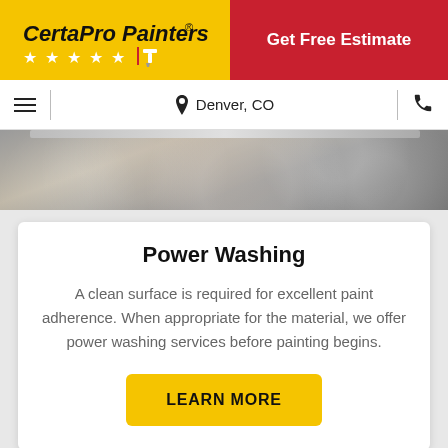[Figure (logo): CertaPro Painters logo on yellow background with stars and brush icon]
Get Free Estimate
Denver, CO
[Figure (photo): Close-up photo of a surface with water droplets, partially visible at top of page]
Power Washing
A clean surface is required for excellent paint adherence. When appropriate for the material, we offer power washing services before painting begins.
LEARN MORE